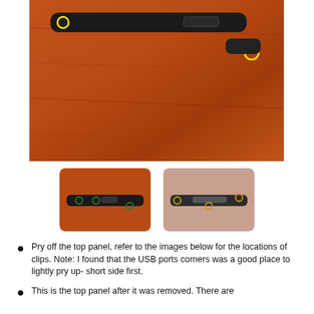[Figure (photo): Close-up photo of a black plastic top panel/bracket against a wood-grain surface. Yellow circles highlight clip/screw locations on the part.]
[Figure (photo): Smaller photo of the black top panel seen from above, with colored circles marking clip positions.]
[Figure (photo): Smaller photo of the top panel flipped over, showing its underside with circles marking clip locations.]
Pry off the top panel, refer to the images below for the locations of clips. Note: I found that the USB ports corners was a good place to lightly pry up- short side first.
This is the top panel after it was removed. There are three little tabs on this panel, and one of a foll size ...